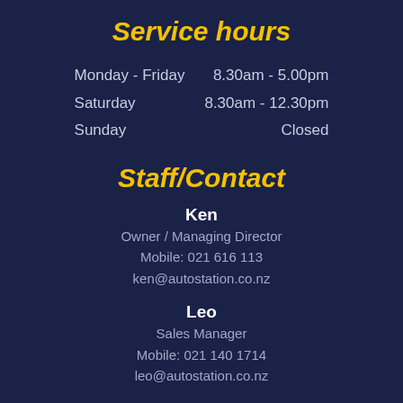Service hours
| Monday - Friday | 8.30am - 5.00pm |
| Saturday | 8.30am - 12.30pm |
| Sunday | Closed |
Staff/Contact
Ken
Owner / Managing Director
Mobile: 021 616 113
ken@autostation.co.nz
Leo
Sales Manager
Mobile: 021 140 1714
leo@autostation.co.nz